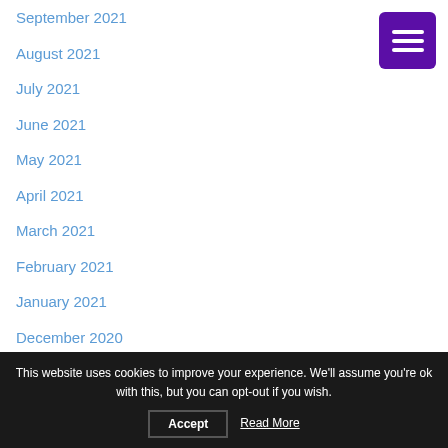September 2021
August 2021
July 2021
June 2021
May 2021
April 2021
March 2021
February 2021
January 2021
December 2020
November 2020
October 2020
September 2020
August 2020
This website uses cookies to improve your experience. We'll assume you're ok with this, but you can opt-out if you wish. Accept Read More